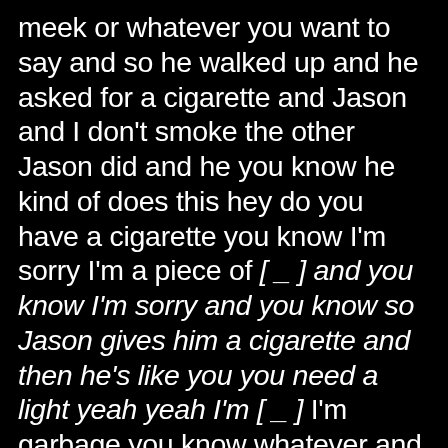meek or whatever you want to say and so he walked up and he asked for a cigarette and Jason and I don't smoke the other Jason did and he you know he kind of does this hey do you have a cigarette you know I'm sorry I'm a piece of [ _ ] and you know I'm sorry and you know so Jason gives him a cigarette and then he's like you you need a light yeah yeah I'm [ _ ] I'm garbage you know whatever and he's talking down about itself and so give them a cigarette gives them a light and of course I think the three of us are standing there at least my expectation was then he would just turn around and walk away with his cigarette and he doesn't he stands there and becomes like a fourth in our conversation and he walked over right mid we were in the middle of talking about